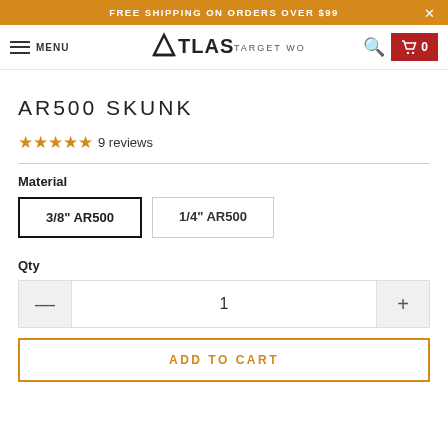FREE SHIPPING ON ORDERS OVER $99
[Figure (logo): Atlas Target Works logo with navigation menu, search icon, and cart showing 0 items]
AR500 SKUNK
★★★★★ 9 reviews
Material
3/8" AR500 | 1/4" AR500
Qty
1
ADD TO CART